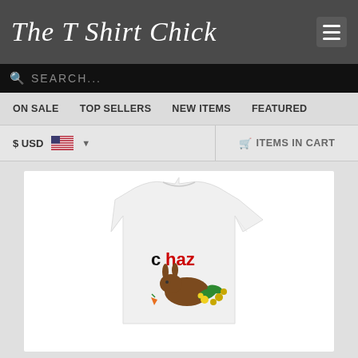The T Shirt Chick
SEARCH...
ON SALE   TOP SELLERS   NEW ITEMS   FEATURED
$ USD   ITEMS IN CART
[Figure (photo): White t-shirt with 'chaz' text in black and red letters, and an Easter bunny chocolate/candy graphic below the text]